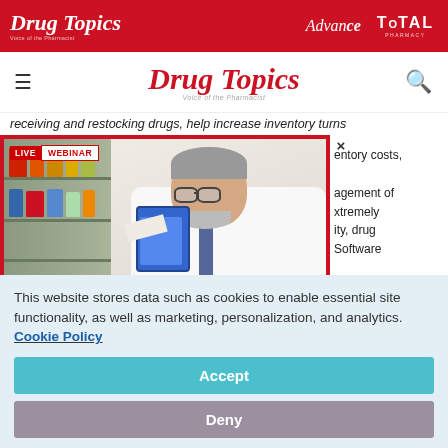[Figure (screenshot): Drug Topics website header with red banner showing Drug Topics logo, Advance and Total Pharmacy brands, navigation bar with hamburger menu, Drug Topics logo and search icon]
receiving and restocking drugs, help increase inventory turns
[Figure (photo): Live Webinar popup overlay showing a pharmacist in white coat with glasses reviewing medication on pharmacy shelves, holding a tablet]
entory costs,
agement of extremely ity, drug Software
This website stores data such as cookies to enable essential site functionality, as well as marketing, personalization, and analytics. Cookie Policy
Accept
Deny